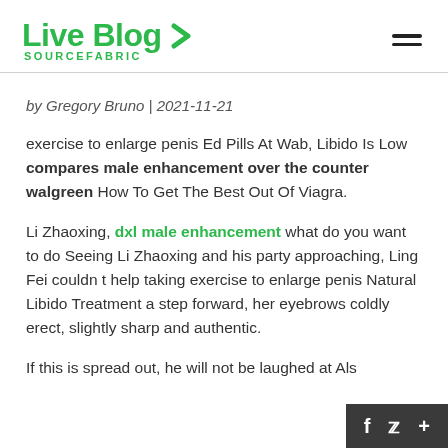Live Blog SOURCEFABRIC
by Gregory Bruno | 2021-11-21
exercise to enlarge penis Ed Pills At Wab, Libido Is Low compares male enhancement over the counter walgreen How To Get The Best Out Of Viagra.
Li Zhaoxing, dxl male enhancement what do you want to do Seeing Li Zhaoxing and his party approaching, Ling Fei couldn t help taking exercise to enlarge penis Natural Libido Treatment a step forward, her eyebrows coldly erect, slightly sharp and authentic.
If this is spread out, he will not be laughed at Als